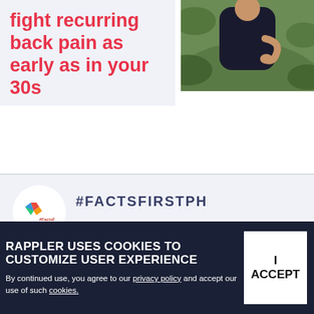fight recurring back pain as early as in your 30s
[Figure (photo): Person holding their lower back in pain, outdoors with green foliage background]
#FACTSFIRSTPH
FACT CHECKS
[Figure (screenshot): Thumbnail showing Imee Marcos Is The Author Of fact check article with colorful icons and BATAS NA text]
RAPPLER USES COOKIES TO CUSTOMIZE USER EXPERIENCE
By continued use, you agree to our privacy policy and accept our use of such cookies.
I ACCEPT